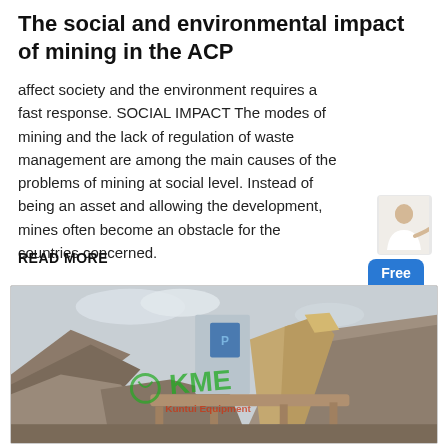The social and environmental impact of mining in the ACP
affect society and the environment requires a fast response. SOCIAL IMPACT The modes of mining and the lack of regulation of waste management are among the main causes of the problems of mining at social level. Instead of being an asset and allowing the development, mines often become an obstacle for the countries concerned.
READ MORE
[Figure (illustration): Chat widget with person icon and blue Free chat button]
[Figure (photo): Mining facility with industrial equipment, ore processing machinery, conveyor belts, rocky terrain and mountains in the background. KME watermark logo visible in green and red in the center of the image.]